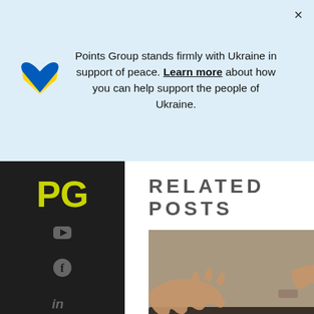Points Group stands firmly with Ukraine in support of peace. Learn more about how you can help support the people of Ukraine.
[Figure (logo): Points Group logo mark - stylized PG letters in green/yellow on dark background]
RELATED POSTS
[Figure (photo): Close-up photo of hands typing on a laptop keyboard]
December 6, 2012